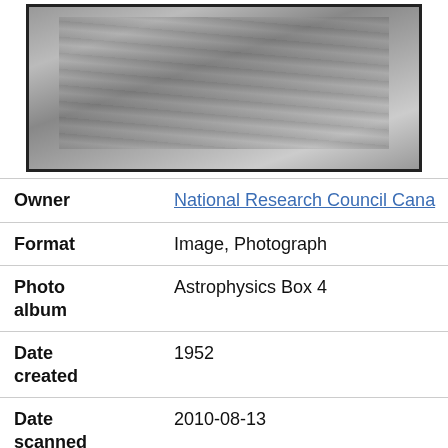[Figure (photo): Black and white photograph shown partially, framed with a dark border, depicting an outdoor scene with structures and ground.]
| Field | Value |
| --- | --- |
| Owner | National Research Council Canada |
| Format | Image, Photograph |
| Photo album | Astrophysics Box 4 |
| Date created | 1952 |
| Date scanned | 2010-08-13 |
| Access condition | The original photograph is preserved in the NRC Archives. |